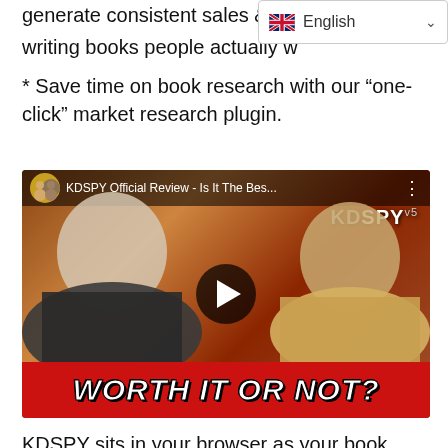generate consistent sales & writing books people actually w
[Figure (screenshot): English language dropdown selector with UK flag]
* Save time on book research with our “one-click” market research plugin.
[Figure (screenshot): YouTube video thumbnail showing KDSPY Official Review - Is It The Bes... with two men and text WORTH IT OR NOT? on red banner at bottom]
KDSPY sits in your browser as your book research assistant.